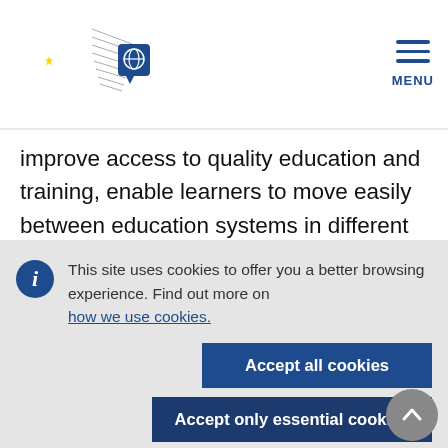[Figure (logo): European Commission logo with EU flag stars and building graphic, plus navigation icons (globe/language selector) and hamburger menu with MENU label]
improve access to quality education and training, enable learners to move easily between education systems in different countries and help create a
This site uses cookies to offer you a better browsing experience. Find out more on how we use cookies.
Accept all cookies
Accept only essential cookies